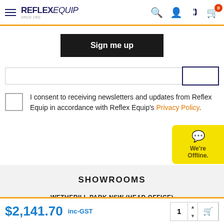[Figure (logo): Reflex Equip logo with hamburger menu, search, user, phone, and cart icons in header navigation bar]
Sign me up
I consent to receiving newsletters and updates from Reflex Equip in accordance with Reflex Equip's Privacy Policy.
[Figure (screenshot): Yellow chat widget showing speech bubble icon and text 'We're Offline.']
SHOWROOMS
WETHERILL PARK NSW (HEAD OFFICE) SHOWROOM & NATIONAL DISTRIBUTION CENTRE
70-85 Cowpasture Road Wetherill Park NSW 2164 Australia
$2,141.70 inc-GST